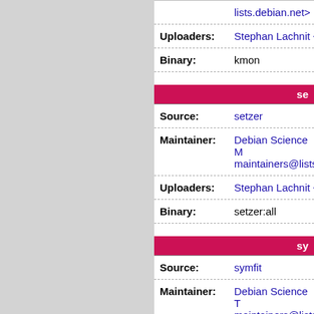| lists.debian.net> |  |
| Uploaders: | Stephan Lachnit < |
| Binary: | kmon |
se
| Source: | setzer |
| Maintainer: | Debian Science M maintainers@lists |
| Uploaders: | Stephan Lachnit < |
| Binary: | setzer:all |
sy
| Source: | symfit |
| Maintainer: | Debian Science T maintainers@lists |
| Uploaders: | Stephan Lachnit < |